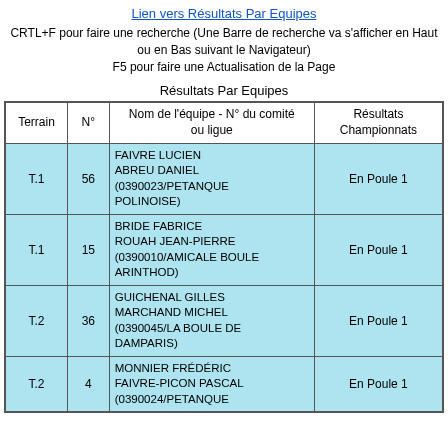Lien vers Résultats Par Equipes
CRTL+F pour faire une recherche (Une Barre de recherche va s'afficher en Haut ou en Bas suivant le Navigateur)
F5 pour faire une Actualisation de la Page
Résultats Par Equipes
| Terrain | N° | Nom de l'équipe - N° du comité ou ligue | Résultats Championnats |
| --- | --- | --- | --- |
| T.1 | 56 | FAIVRE LUCIEN
ABREU DANIEL
(0390023/PETANQUE POLINOISE) | En Poule 1 |
| T.1 | 15 | BRIDE FABRICE
ROUAH JEAN-PIERRE
(0390010/AMICALE BOULE ARINTHOD) | En Poule 1 |
| T.2 | 36 | GUICHENAL GILLES
MARCHAND MICHEL
(0390045/LA BOULE DE DAMPARIS) | En Poule 1 |
| T.2 | 4 | MONNIER FRÉDÉRIC
FAIVRE-PICON PASCAL
(0390024/PETANQUE | En Poule 1 |